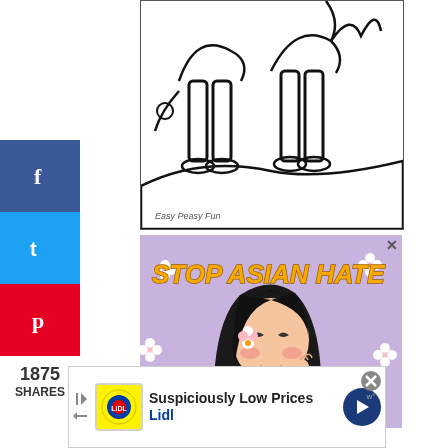[Figure (illustration): Coloring page showing cartoon figures (feet/legs visible) with 'Easy Peasy Fun' watermark at bottom left, black and white line art]
[Figure (illustration): Stop Asian Hate advertisement image showing illustrated Asian woman with black hair, flower accessory, white turtleneck, on purple/lavender background with white cherry blossom flowers and bold gold italic text 'STOP ASIAN HATE']
f
t
p
1875
SHARES
[Figure (screenshot): Lidl advertisement banner: 'Suspiciously Low Prices' with Lidl logo, navigation arrow icon, and close button]